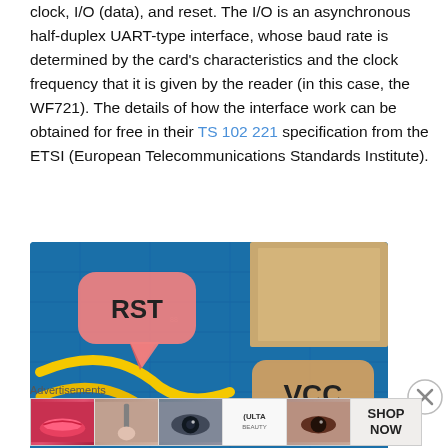clock, I/O (data), and reset. The I/O is an asynchronous half-duplex UART-type interface, whose baud rate is determined by the card's characteristics and the clock frequency that it is given by the reader (in this case, the WF721). The details of how the interface work can be obtained for free in their TS 102 221 specification from the ETSI (European Telecommunications Standards Institute).
[Figure (photo): Close-up photo of a circuit board with labeled components: RST (reset) labeled with a pink speech bubble callout, VCC (power) labeled with an orange rounded rectangle, and yellow wires visible on a blue PCB.]
Advertisements
[Figure (other): Advertisement banner for ULTA beauty showing multiple close-up images of makeup and eyes, with ULTA logo and SHOP NOW call to action.]